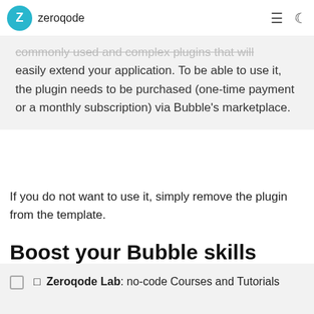zeroqode
Note: This template has Zeroqode Air commonly used and complex plugins that will easily extend your application. To be able to use it, the plugin needs to be purchased (one-time payment or a monthly subscription) via Bubble's marketplace.
If you do not want to use it, simply remove the plugin from the template.
Boost your Bubble skills within our Lab
🔲 Zeroqode Lab: no-code Courses and Tutorials